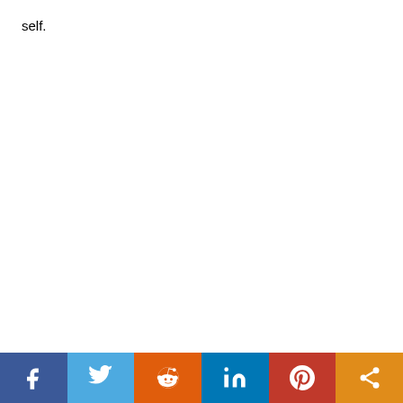self.
Social sharing bar with icons: Facebook, Twitter, Reddit, LinkedIn, Pinterest, Share